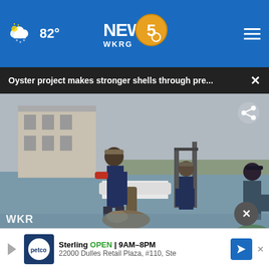NEWS 5 WKRG — 82°
Oyster project makes stronger shells through pre...
[Figure (photo): Three people working on a dock near water, handling oyster-related materials. Industrial building visible in background.]
Mobile County • 23 hours ago
Sterling OPEN 9AM-8PM 22000 Dulles Retail Plaza, #110, Ste